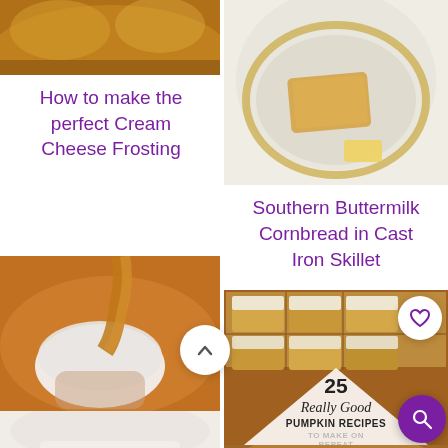[Figure (photo): Top portion of a dish with golden/yellow crumbly topping, partially visible]
How to make the perfect Cream Cheese Frosting
[Figure (photo): Cast iron skillet with cornbread, butter on plate, overhead view]
Southern Buttermilk Cornbread in Cast Iron Skillet
[Figure (photo): Caramel sauce being poured from a white bowl, close-up]
[Figure (photo): Pumpkin bar squares with cream cheese frosting, with overlay text reading 25 Really Good PUMPKIN RECIPES TO MAKE ON REPEAT]
[Figure (photo): Partial bottom image - white background, partially cut off]
[Figure (photo): Partial bottom image - pumpkin colored, partially cut off]